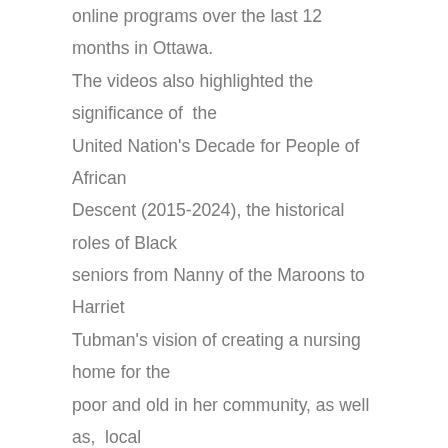online programs over the last 12 months in Ottawa. The videos also highlighted the significance of the United Nation's Decade for People of African Descent (2015-2024), the historical roles of Black seniors from Nanny of the Maroons to Harriet Tubman's vision of creating a nursing home for the poor and old in her community, as well as, local community Black organizations that provide meaningful support and services to seniors.
OBSVLN Survey:
Surveys were administered to approximately one hundred Black seniors of which eighty-two offered